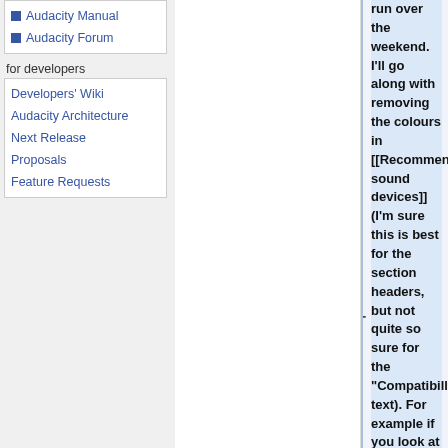Audacity Manual
Audacity Forum
for developers
Developers' Wiki
Audacity Architecture
Next Release
Proposals
Feature Requests
run over the weekend. I'll go along with removing the colours in [[Recommended sound devices]] (I'm sure this is best for the section headers, but not quite so sure for the "Compatibillity" text). For example if you look at the "applies to" text at [[Mac Bugs]] I think removing the colour on such a long page makes it quite hard to pick out the Audacity versions which are applicable (and if we ever get a lot of text in the page